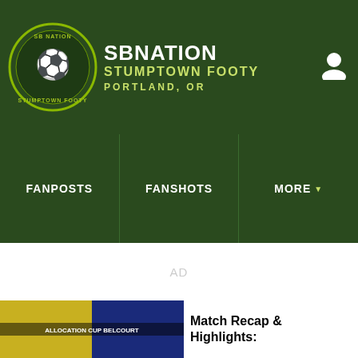SBNation Stumptown Footy — Portland, OR
FANPOSTS
FANSHOTS
MORE
AD
[Figure (screenshot): Thumbnail image of a soccer match recap article with yellow and green team colors]
Match Recap & Highlights: